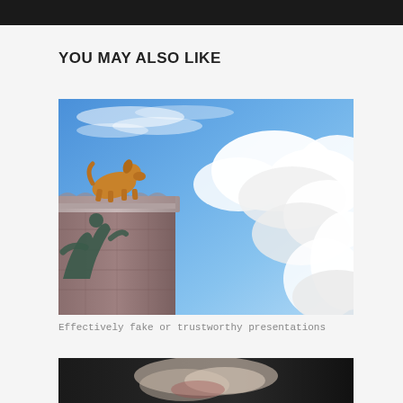YOU MAY ALSO LIKE
[Figure (photo): A golden dog statue crouched atop a stone monument pillar, with a blue sky filled with dramatic white clouds behind it, and a dark bronze human figure sculpture visible at the lower left.]
Effectively fake or trustworthy presentations
[Figure (photo): A partially visible photograph at the bottom of the page showing what appears to be a light-colored animal or figure against a dark background.]